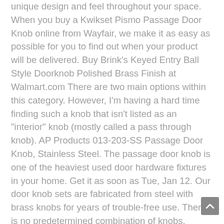unique design and feel throughout your space. When you buy a Kwikset Pismo Passage Door Knob online from Wayfair, we make it as easy as possible for you to find out when your product will be delivered. Buy Brink's Keyed Entry Ball Style Doorknob Polished Brass Finish at Walmart.com There are two main options within this category. However, I'm having a hard time finding such a knob that isn't listed as an "interior" knob (mostly called a pass through knob). AP Products 013-203-SS Passage Door Knob, Stainless Steel. The passage door knob is one of the heaviest used door hardware fixtures in your home. Get it as soon as Tue, Jan 12. Our door knob sets are fabricated from steel with brass knobs for years of trouble-free use. There is no predetermined combination of knobs, levers, rosettes and finishes; we let you mix and match according to your own taste. Please call us at: 1-800-HOME-DEPOT (1-800-466-3337), Please enter in your email address in the following format: you@domain.com. We supply door knobs in a wide variety of shapes, styles and finishes. Vintage Yale Brass & Black Door Lock Surface Mount Knob Deadbolt. All Rights Reserved. The sturdy door knob nicely